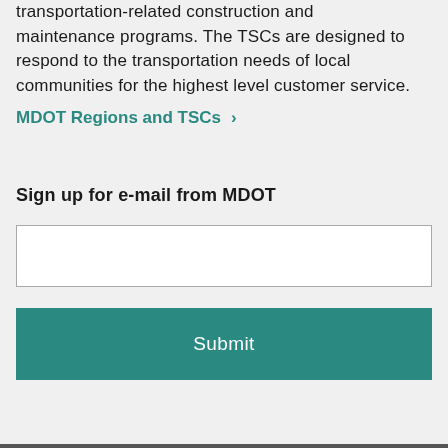transportation-related construction and maintenance programs. The TSCs are designed to respond to the transportation needs of local communities for the highest level customer service.
MDOT Regions and TSCs ›
Sign up for e-mail from MDOT
[Figure (other): Email input text field, empty, with white background and grey border]
[Figure (other): Submit button with teal/dark cyan background and white 'Submit' text]